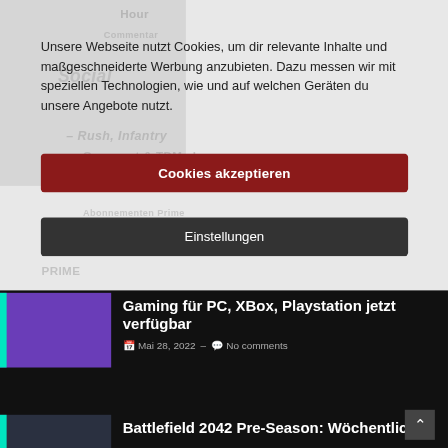Unsere Webseite nutzt Cookies, um dir relevante Inhalte und maßgeschneiderte Werbung anzubieten. Dazu messen wir mit speziellen Technologien, wie und auf welchen Geräten du unsere Angebote nutzt.
Cookies akzeptieren
Einstellungen
Gaming für PC, XBox, Playstation jetzt verfügbar
Mai 28, 2022 - No comments
Battlefield 2042 Pre-Season: Wöchentliche